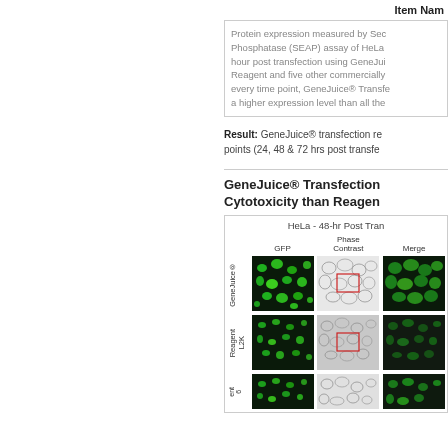Item Nam
Protein expression measured by Secreted Alkaline Phosphatase (SEAP) assay of HeLa cells at 24, 48, 72 hour post transfection using GeneJuice® Transfection Reagent and five other commercially available reagents. At every time point, GeneJuice® Transfection Reagent showed a higher expression level than all the
Result: GeneJuice® transfection reagent is superior at all time points (24, 48 & 72 hrs post transfection).
GeneJuice® Transfection Shows Lower Cytotoxicity than Reagent
[Figure (photo): Microscopy images of HeLa cells 48-hr Post Transfection. Grid shows GFP, Phase Contrast, and Merged columns for GeneJuice®, Reagent L2K, and a third reagent rows.]